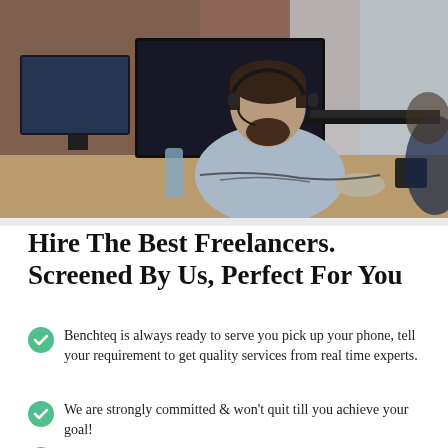[Figure (photo): A man with a beard wearing a headset and light blue shirt working at a desk with multiple monitors and a laptop in an office setting with brick walls]
Hire The Best Freelancers. Screened By Us, Perfect For You
Benchteq is always ready to serve you pick up your phone, tell your requirement to get quality services from real time experts.
We are strongly committed & won't quit till you achieve your goal!
We are strongly committed & won't quit till you achieve your goal!